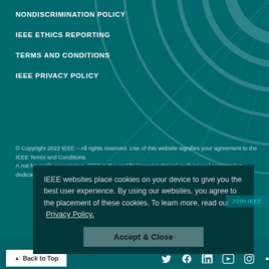NONDISCRIMINATION POLICY
IEEE ETHICS REPORTING
TERMS AND CONDITIONS
IEEE PRIVACY POLICY
© Copyright 2022 IEEE – All rights reserved. Use of this website signifies your agreement to the IEEE Terms and Conditions.
A not-for-profit organization, IEEE is the world's largest technical professional organization dedicated to advancing technology for the benefit of humanity.
IEEE websites place cookies on your device to give you the best user experience. By using our websites, you agree to the placement of these cookies. To learn more, read our  Privacy Policy.
Accept & Close
JOIN IEEE
Back to Top